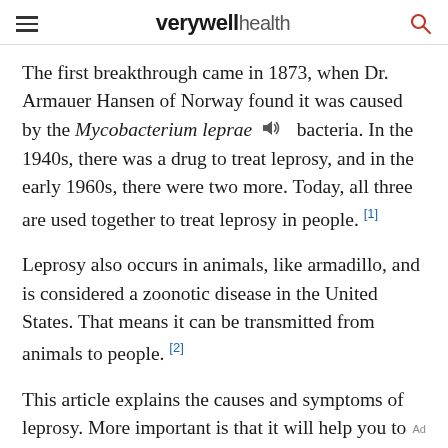verywell health
The first breakthrough came in 1873, when Dr. Armauer Hansen of Norway found it was caused by the Mycobacterium leprae bacteria. In the 1940s, there was a drug to treat leprosy, and in the early 1960s, there were two more. Today, all three are used together to treat leprosy in people. [1]
Leprosy also occurs in animals, like armadillo, and is considered a zoonotic disease in the United States. That means it can be transmitted from animals to people. [2]
This article explains the causes and symptoms of leprosy. More important is that it will help you to